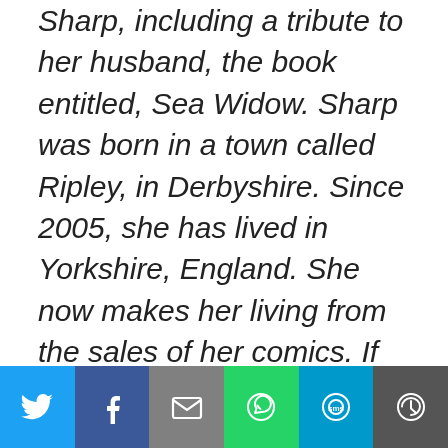Sharp, including a tribute to her husband, the book entitled, Sea Widow. Sharp was born in a town called Ripley, in Derbyshire. Since 2005, she has lived in Yorkshire, England. She now makes her living from the sales of her comics. If you read my review of Sharp's work, then you'll
[Figure (infographic): Social sharing bar with six buttons: Twitter (blue), Facebook (dark blue), Email (grey), WhatsApp (green), SMS (light blue), More (dark grey)]